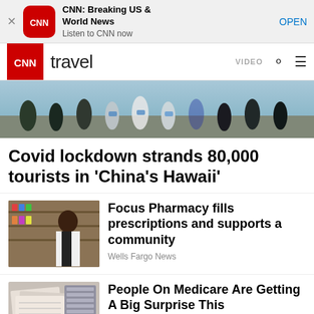[Figure (screenshot): CNN app banner with red CNN logo icon, title 'CNN: Breaking US & World News', subtitle 'Listen to CNN now', and OPEN button]
CNN travel | VIDEO
[Figure (photo): People wearing face masks outdoors, covid lockdown scene]
Covid lockdown strands 80,000 tourists in 'China's Hawaii'
[Figure (photo): Pharmacist in white lab coat smiling in pharmacy]
Focus Pharmacy fills prescriptions and supports a community
Wells Fargo News
[Figure (photo): Medicare related materials, papers and folders]
People On Medicare Are Getting A Big Surprise This